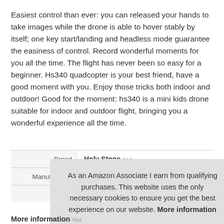Easiest control than ever: you can released your hands to take images while the drone is able to hover stably by itself; one key start/landing and headless mode guarantee the easiness of control. Record wonderful moments for you all the time. The flight has never been so easy for a beginner. Hs340 quadcopter is your best friend, have a good moment with you. Enjoy those tricks both indoor and outdoor! Good for the moment: hs340 is a mini kids drone suitable for indoor and outdoor flight, bringing you a wonderful experience all the time.
|  |  |
| --- | --- |
| Brand | Holy Stone #ad |
| Manufacturer | Holy Stone #ad |
| P |  |
As an Amazon Associate I earn from qualifying purchases. This website uses the only necessary cookies to ensure you get the best experience on our website. More information
More information #ad